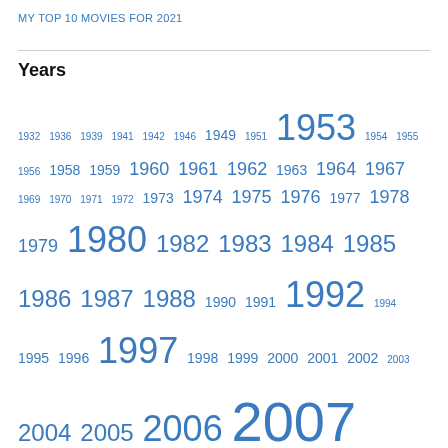MY TOP 10 MOVIES FOR 2021
Years
1932 1936 1939 1941 1942 1946 1949 1951 1953 1954 1955 1956 1958 1959 1960 1961 1962 1963 1964 1967 1969 1970 1971 1972 1973 1974 1975 1976 1977 1978 1979 1980 1982 1983 1984 1985 1986 1987 1988 1990 1991 1992 1994 1995 1996 1997 1998 1999 2000 2001 2002 2003 2004 2005 2006 2007 2008 2009 2010 2011 2012 2013 2014 2015 2016 2017 2018 2019 2020 2021 2022 academy awards oscars podcast The B.A.N.G Show